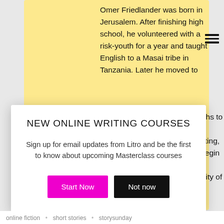Omer Friedlander was born in Jerusalem. After finishing high school, he volunteered with a risk-youth for a year and taught English to a Masai tribe in Tanzania. Later he moved to ...onths to ...his writing, ...ll begin his ...ersity of
NEW ONLINE WRITING COURSES
Sign up for email updates from Litro and be the first to know about upcoming Masterclass courses
Start Now
Not now
online fiction  •  short stories  •  storysunday